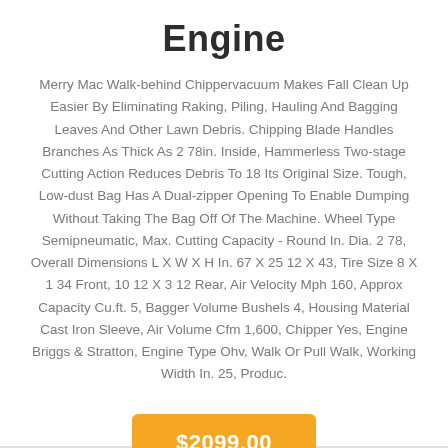Engine
Merry Mac Walk-behind Chippervacuum Makes Fall Clean Up Easier By Eliminating Raking, Piling, Hauling And Bagging Leaves And Other Lawn Debris. Chipping Blade Handles Branches As Thick As 2 78in. Inside, Hammerless Two-stage Cutting Action Reduces Debris To 18 Its Original Size. Tough, Low-dust Bag Has A Dual-zipper Opening To Enable Dumping Without Taking The Bag Off Of The Machine. Wheel Type Semipneumatic, Max. Cutting Capacity - Round In. Dia. 2 78, Overall Dimensions L X W X H In. 67 X 25 12 X 43, Tire Size 8 X 1 34 Front, 10 12 X 3 12 Rear, Air Velocity Mph 160, Approx Capacity Cu.ft. 5, Bagger Volume Bushels 4, Housing Material Cast Iron Sleeve, Air Volume Cfm 1,600, Chipper Yes, Engine Briggs & Stratton, Engine Type Ohv, Walk Or Pull Walk, Working Width In. 25, Produc.
$2099.00